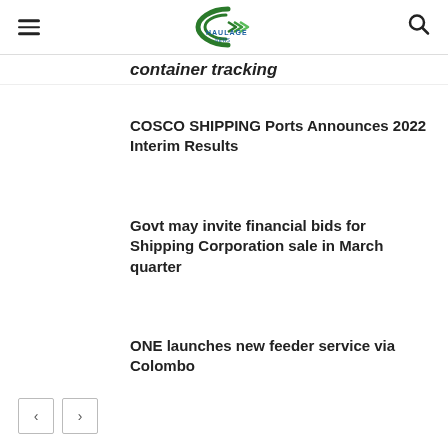Haulage News (logo)
container tracking
COSCO SHIPPING Ports Announces 2022 Interim Results
Govt may invite financial bids for Shipping Corporation sale in March quarter
ONE launches new feeder service via Colombo